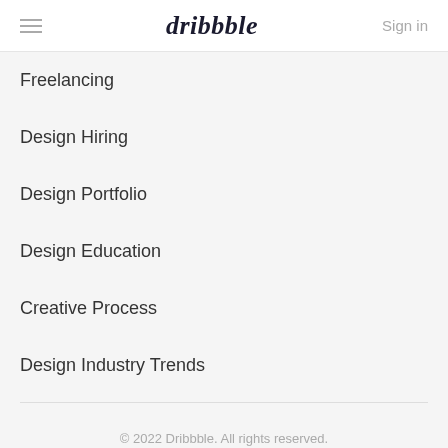dribbble  Sign in
Freelancing
Design Hiring
Design Portfolio
Design Education
Creative Process
Design Industry Trends
© 2022 Dribbble. All rights reserved.
19,281,592 shots dribbbled